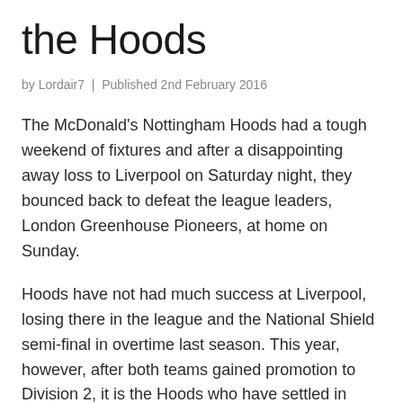the Hoods
by Lordair7  |  Published 2nd February 2016
The McDonald's Nottingham Hoods had a tough weekend of fixtures and after a disappointing away loss to Liverpool on Saturday night, they bounced back to defeat the league leaders, London Greenhouse Pioneers, at home on Sunday.
Hoods have not had much success at Liverpool, losing there in the league and the National Shield semi-final in overtime last season. This year, however, after both teams gained promotion to Division 2, it is the Hoods who have settled in better. The two teams were inseparable throughout 3 quarters, with Hoods edging